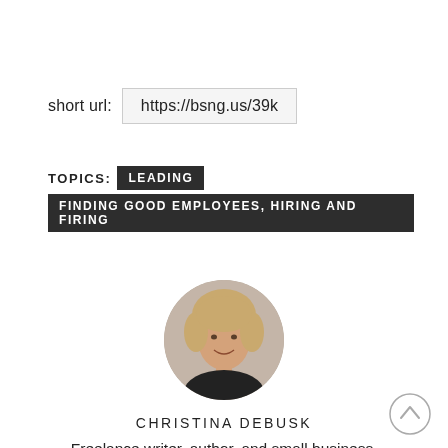short url:  https://bsng.us/39k
TOPICS:  LEADING  FINDING GOOD EMPLOYEES, HIRING AND FIRING
[Figure (photo): Circular portrait photo of Christina DeBusk, a woman with short blonde hair wearing a black top, against a neutral background.]
CHRISTINA DEBUSK
Freelance writer, author, and small business consultant committed to helping entrepreneurs